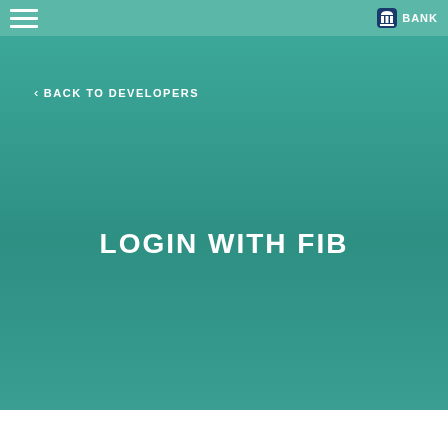[Figure (logo): Top navigation bar with left hamburger/menu icon and right bank logo icon with BANK text on teal/green background]
< BACK TO DEVELOPERS
LOGIN WITH FIB